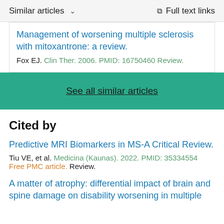Similar articles  ∨    Full text links
Management of worsening multiple sclerosis with mitoxantrone: a review.
Fox EJ. Clin Ther. 2006. PMID: 16750460 Review.
See all similar articles
Cited by
Predictive MRI Biomarkers in MS-A Critical Review.
Tiu VE, et al. Medicina (Kaunas). 2022. PMID: 35334554
Free PMC article. Review.
A matter of atrophy: differential impact of brain and spine damage on disability worsening in multiple